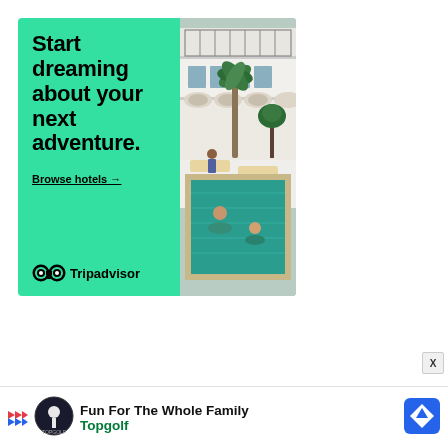[Figure (illustration): Tripadvisor advertisement banner with green background. Left side has bold black text 'Start dreaming about your next adventure.' with underlined 'Browse hotels →' link and Tripadvisor owl logo with brand name. Right side shows a photo of a hotel courtyard with a swimming pool, lounge chairs, people swimming, and multi-story white building with balconies and tropical plants.]
[Figure (illustration): Topgolf advertisement banner at the bottom with play button arrows icon, Topgolf circular logo, text 'Fun For The Whole Family' and 'Topgolf' in green, and a blue diamond navigation arrow on the right.]